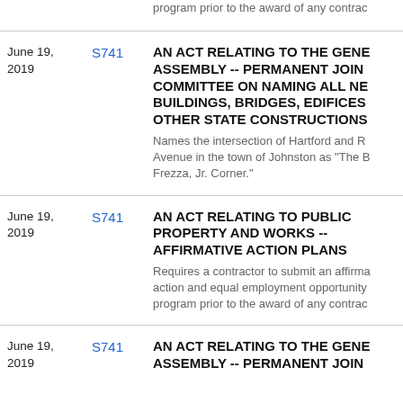program prior to the award of any contract (partial, top)
June 19, 2019
S741
AN ACT RELATING TO THE GENERAL ASSEMBLY -- PERMANENT JOINT COMMITTEE ON NAMING ALL NEW BUILDINGS, BRIDGES, EDIFICES, OTHER STATE CONSTRUCTIONS
Names the intersection of Hartford and Reservoir Avenue in the town of Johnston as "The B. Frezza, Jr. Corner."
June 19, 2019
S741
AN ACT RELATING TO PUBLIC PROPERTY AND WORKS -- AFFIRMATIVE ACTION PLANS
Requires a contractor to submit an affirmative action and equal employment opportunity program prior to the award of any contract
June 19, 2019
S741
AN ACT RELATING TO THE GENERAL ASSEMBLY -- PERMANENT JOINT